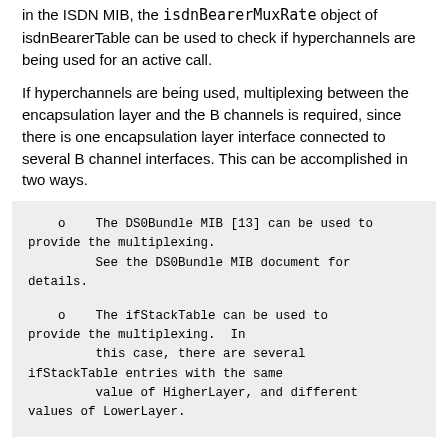in the ISDN MIB, the isdnBearerMuxRate object of isdnBearerTable can be used to check if hyperchannels are being used for an active call.
If hyperchannels are being used, multiplexing between the encapsulation layer and the B channels is required, since there is one encapsulation layer interface connected to several B channel interfaces. This can be accomplished in two ways.
o    The DS0Bundle MIB [13] can be used to provide the multiplexing.
         See the DS0Bundle MIB document for details.
o    The ifStackTable can be used to provide the multiplexing.  In
         this case, there are several ifStackTable entries with the same
         value of HigherLayer, and different values of LowerLayer.